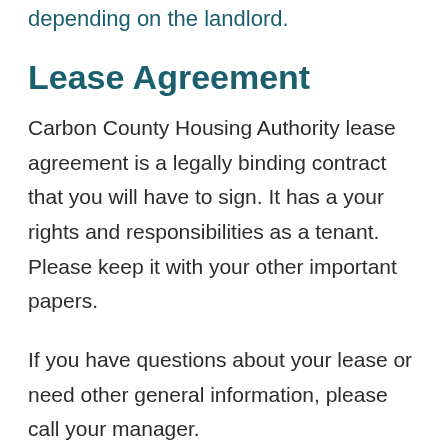depending on the landlord.
Lease Agreement
Carbon County Housing Authority lease agreement is a legally binding contract that you will have to sign. It has a your rights and responsibilities as a tenant. Please keep it with your other important papers.
If you have questions about your lease or need other general information, please call your manager.
Rent Information